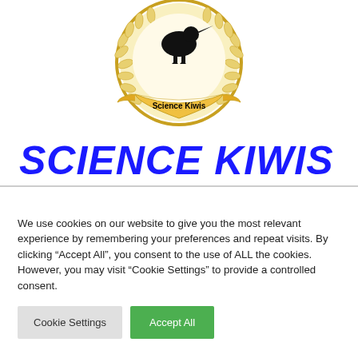[Figure (logo): Science Kiwis circular emblem/logo with laurel wreath border, kiwi bird silhouette at top, and 'Science Kiwis' text on a banner at the bottom]
SCIENCE KIWIS
We use cookies on our website to give you the most relevant experience by remembering your preferences and repeat visits. By clicking “Accept All”, you consent to the use of ALL the cookies. However, you may visit "Cookie Settings" to provide a controlled consent.